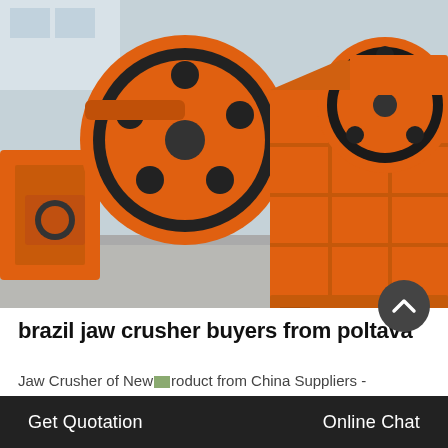[Figure (photo): Large orange jaw crusher machine with black flywheels, photographed outdoors on a concrete surface. Two large circular orange and black flywheels visible on top, with heavy orange steel frame structure below.]
brazil jaw crusher buyers from poltava
Jaw Crusher of New[image]roduct from China Suppliers - Online
Get Quotation    Online Chat